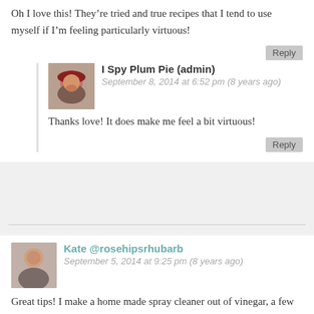Oh I love this! They're tried and true recipes that I tend to use myself if I'm feeling particularly virtuous!
Reply
I Spy Plum Pie (admin)
September 8, 2014 at 6:52 pm (8 years ago)
Thanks love! It does make me feel a bit virtuous!
Reply
Kate @rosehipsrhubarb
September 5, 2014 at 9:25 pm (8 years ago)
Great tips! I make a home made spray cleaner out of vinegar, a few drops detergent, water, a little bicarb and a few drops essential oil (I use rose geranium or orange). It cleans beautifully and smells lovely.